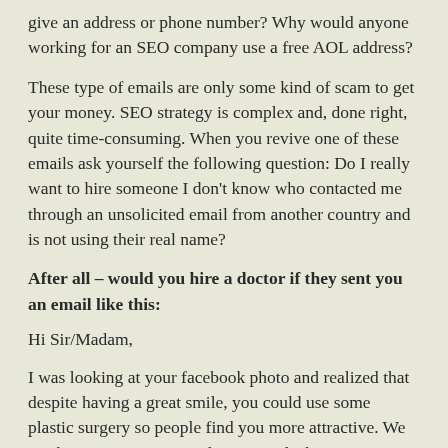give an address or phone number? Why would anyone working for an SEO company use a free AOL address?
These type of emails are only some kind of scam to get your money. SEO strategy is complex and, done right, quite time-consuming. When you revive one of these emails ask yourself the following question: Do I really want to hire someone I don't know who contacted me through an unsolicited email from another country and is not using their real name?
After all – would you hire a doctor if they sent you an email like this:
Hi Sir/Madam,
I was looking at your facebook photo and realized that despite having a great smile, you could use some plastic surgery so people find you more attractive. We can bring you more compliments and a better paying job by making you more appealing to people who will